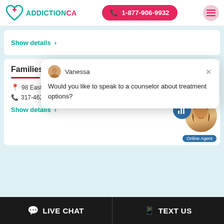[Figure (screenshot): AddictionCA website header with logo, phone number 1-877-906-9932, and hamburger menu button]
Show details >
Families F...
98 East North Street, Greenfield, IN. 46140
317-462-3733.
Show details >
Vanessa
Would you like to speak to a counselor about treatment options?
Online Agent
LIVE CHAT
TEXT US